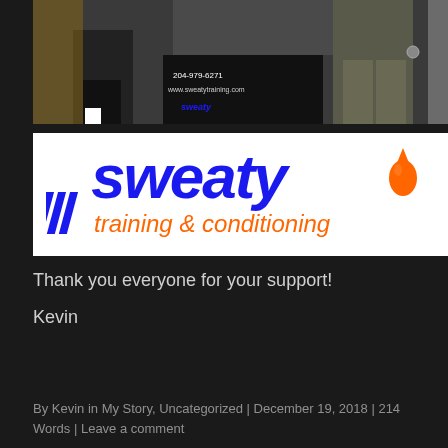[Figure (photo): Two people standing in front of a Sweaty Training & Conditioning banner/sign showing phone number 204-979-6271 and website www.sweatytraining.com]
[Figure (logo): Sweaty Training & Conditioning logo - blue bold italic 'sweaty' text with orange sweat drop, orange italic 'training & conditioning' text below, blue diagonal lines on left]
Thank you everyone for your support!
Kevin
By Kevin in My Story, Uncategorized | December 19, 2018 | 214 Words | Leave a comment